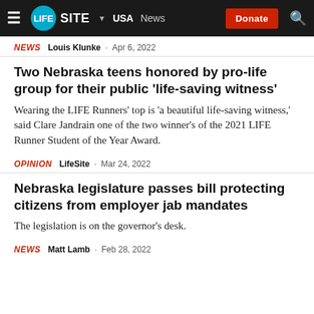LifeSite · USA · News · Donate
NEWS  Louis Klunke · Apr 6, 2022
Two Nebraska teens honored by pro-life group for their public 'life-saving witness'
Wearing the LIFE Runners' top is 'a beautiful life-saving witness,' said Clare Jandrain one of the two winner's of the 2021 LIFE Runner Student of the Year Award.
OPINION  LifeSite · Mar 24, 2022
Nebraska legislature passes bill protecting citizens from employer jab mandates
The legislation is on the governor's desk.
NEWS  Matt Lamb · Feb 28, 2022